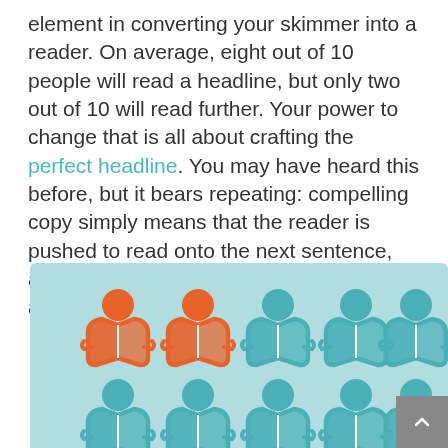element in converting your skimmer into a reader. On average, eight out of 10 people will read a headline, but only two out of 10 will read further. Your power to change that is all about crafting the perfect headline. You may have heard this before, but it bears repeating: compelling copy simply means that the reader is pushed to read onto the next sentence, and then the next, down to your call-to-action.
[Figure (infographic): Infographic on light blue background showing two rows of reader icons (person reading a book). Top row: first two icons are orange, remaining three are teal/cyan, representing 2 out of 5 readers (scaled to 2 out of 10). Bottom row shows five more teal reader icons partially visible. A gray scroll-to-top button with an up arrow is visible at the right side.]